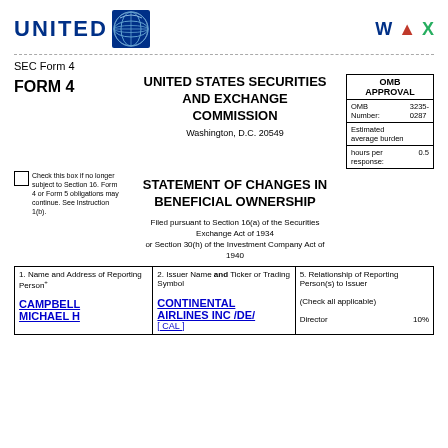[Figure (logo): United Airlines logo with globe icon and WAX icons]
SEC Form 4
FORM 4
UNITED STATES SECURITIES AND EXCHANGE COMMISSION
Washington, D.C. 20549
| OMB APPROVAL |
| OMB Number: | 3235-0287 |
| Estimated average burden |
| hours per response: | 0.5 |
STATEMENT OF CHANGES IN BENEFICIAL OWNERSHIP
Check this box if no longer subject to Section 16. Form 4 or Form 5 obligations may continue. See Instruction 1(b).
Filed pursuant to Section 16(a) of the Securities Exchange Act of 1934 or Section 30(h) of the Investment Company Act of 1940
| 1. Name and Address of Reporting Person* | 2. Issuer Name and Ticker or Trading Symbol | 5. Relationship of Reporting Person(s) to Issuer (Check all applicable) |
| --- | --- | --- |
| CAMPBELL MICHAEL H | CONTINENTAL AIRLINES INC /DE/ [ CAL ] | Director 10% |